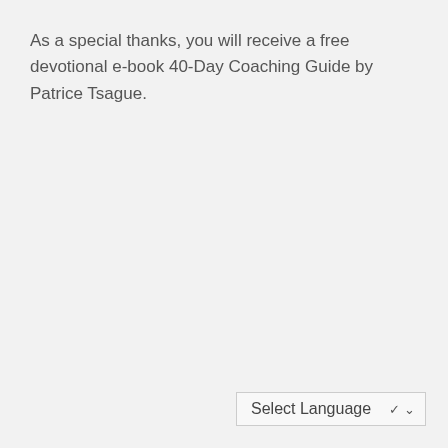As a special thanks, you will receive a free devotional e-book 40-Day Coaching Guide by Patrice Tsague.
Select Language